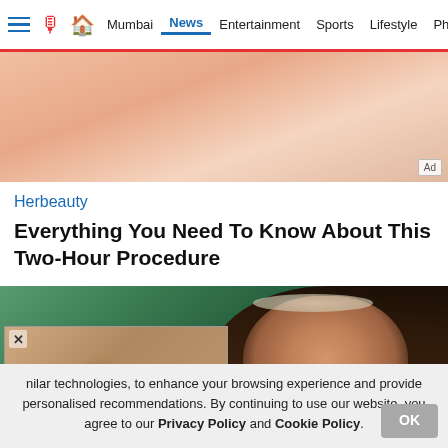Mumbai | News | Entertainment | Sports | Lifestyle | Photos
[Figure (photo): Close-up advertisement image showing skin/hands, with Ad badge]
Herbeauty
Everything You Need To Know About This Two-Hour Procedure
[Figure (photo): Photo of a smiling young girl wearing a floral tiara/crown, with dark hair, looking upward to the right. Green background.]
[Figure (photo): Overlay popup showing hands holding a ring, with X close button]
nilar technologies, to enhance your browsing experience and provide personalised recommendations. By continuing to use our website, you agree to our Privacy Policy and Cookie Policy.